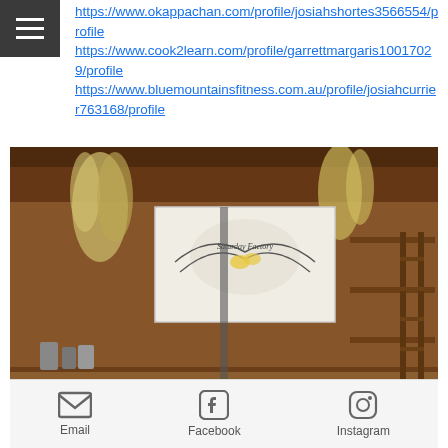https://www.okappachan.com/profile/josiahshortes3566554/profile https://www.cook2learn.com/profile/garrettmargaris10017029/profile https://www.bluemountainsfitness.com.au/profile/josiahcurrier763168/profile
[Figure (photo): Interior of a craft/maker studio shop with wooden benches, tools, various handmade items on display, and a white sign reading 'Saturday Factory' hanging from the ceiling. Warm brick wall background with pendant lights and dried botanical decorations.]
STUDIO
Email  Facebook  Instagram